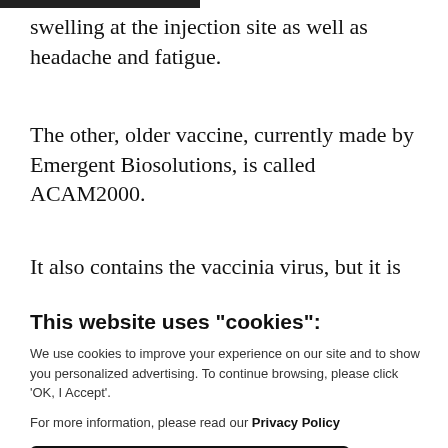swelling at the injection site as well as headache and fatigue.
The other, older vaccine, currently made by Emergent Biosolutions, is called ACAM2000.
It also contains the vaccinia virus, but it is
This website uses "cookies":
We use cookies to improve your experience on our site and to show you personalized advertising. To continue browsing, please click 'OK, I Accept'.
For more information, please read our Privacy Policy
Ok, I Accept